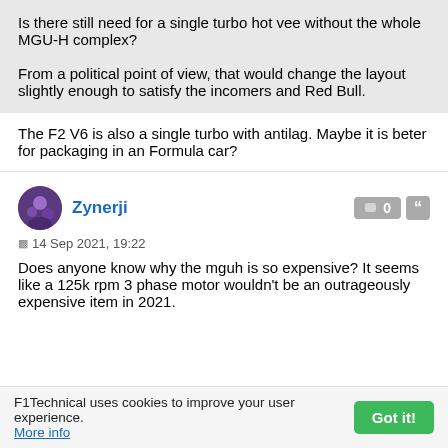Is there still need for a single turbo hot vee without the whole MGU-H complex?

From a political point of view, that would change the layout slightly enough to satisfy the incomers and Red Bull.
The F2 V6 is also a single turbo with antilag. Maybe it is beter for packaging in an Formula car?
Zynerji
14 Sep 2021, 19:22
Does anyone know why the mguh is so expensive? It seems like a 125k rpm 3 phase motor wouldn't be an outrageously expensive item in 2021.
F1Technical uses cookies to improve your user experience. More info